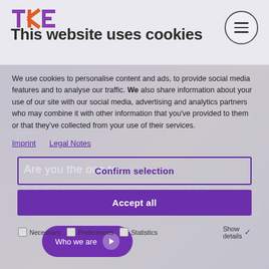TKE logo
This website uses cookies
We use cookies to personalise content and ads, to provide social media features and to analyse our traffic. We also share information about your use of our site with our social media, advertising and analytics partners who may combine it with other information that you've provided to them or that they've collected from your use of their services.
Imprint
Legal Notes
Confirm selection
Accept all
Are you the one to
MOVE BEYOND
Necessary   Preferences   Statistics   Show details
Who we are